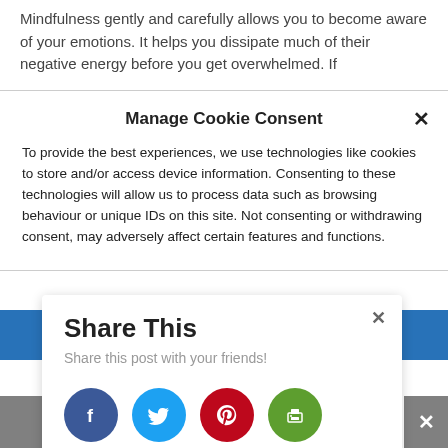Mindfulness gently and carefully allows you to become aware of your emotions. It helps you dissipate much of their negative energy before you get overwhelmed. If
Manage Cookie Consent
To provide the best experiences, we use technologies like cookies to store and/or access device information. Consenting to these technologies will allow us to process data such as browsing behaviour or unique IDs on this site. Not consenting or withdrawing consent, may adversely affect certain features and functions.
Share This
Share this post with your friends!
[Figure (infographic): Four circular social share buttons: Facebook (dark blue), Twitter (light blue), Pinterest (red), Print (green)]